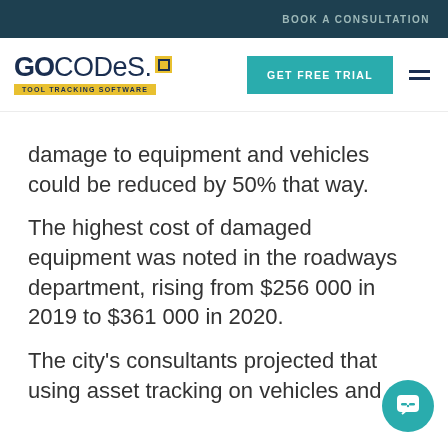BOOK A CONSULTATION
[Figure (logo): GoCodes Tool Tracking Software logo with yellow square icon and yellow tagline banner]
GET FREE TRIAL
damage to equipment and vehicles could be reduced by 50% that way.
The highest cost of damaged equipment was noted in the roadways department, rising from $256 000 in 2019 to $361 000 in 2020.
The city's consultants projected that using asset tracking on vehicles and